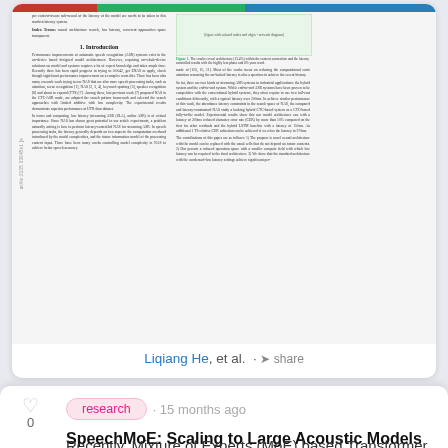[Figure (screenshot): Thumbnail preview of an academic paper with colored top bar (red, green, blue sections), two-column layout with title, introduction section text, and a figure caption. ArXiv identifier visible on left margin.]
Liqiang He, et al. · share
research · 15 months ago
SpeechMoE: Scaling to Large Acoustic Models with Dynamic Routing Mixture of Experts
Recently, Mixture of Experts (MoE) based Transformer has shown promising...